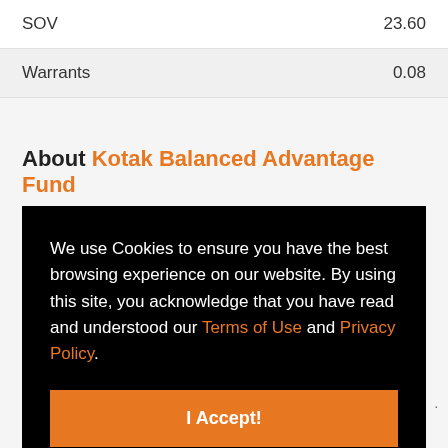|  |  |
| --- | --- |
| SOV | 23.60 |
| Warrants | 0.08 |
About Kotak Balanced Advantage Fund
We use Cookies to ensure you have the best browsing experience on our website. By using this site, you acknowledge that you have read and understood our Terms of Use and Privacy Policy.
I Accept!
index